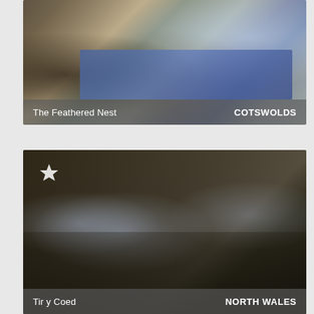[Figure (photo): Interior photo of The Feathered Nest showing a stone-walled living room with a wood-burning stove, blue sofa, colorful rug and coffee table. Label overlay reads 'The Feathered Nest' on the left and 'COTSWOLDS' on the right.]
[Figure (photo): Interior photo of Tir y Coed hotel room showing a luxurious bedroom with large windows, brown curtains, ornate mirror, striped armchairs and a bed with towels. A star icon appears top-left. Label overlay reads 'Tir y Coed' on the left and 'NORTH WALES' on the right.]